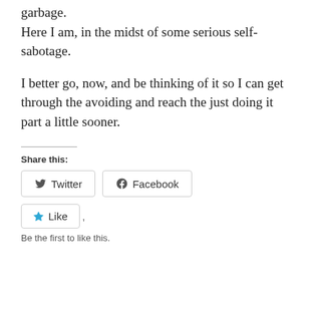garbage.
Here I am, in the midst of some serious self-sabotage.
I better go, now, and be thinking of it so I can get through the avoiding and reach the just doing it part a little sooner.
Share this:
[Figure (other): Social share buttons: Twitter and Facebook]
[Figure (other): Like button with star icon]
Be the first to like this.